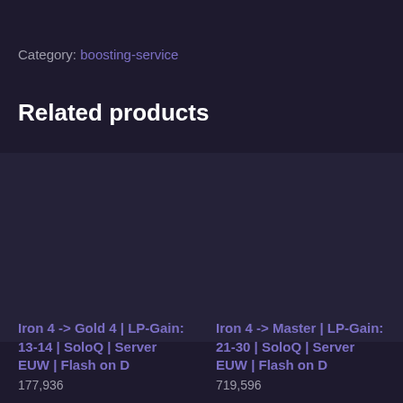Category: boosting-service
Related products
Iron 4 -> Gold 4 | LP-Gain: 13-14 | SoloQ | Server EUW | Flash on D
Iron 4 -> Master | LP-Gain: 21-30 | SoloQ | Server EUW | Flash on D